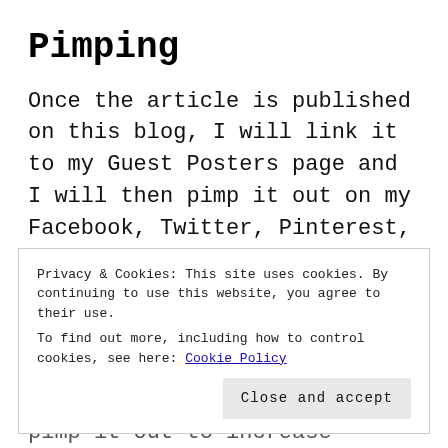Pimping
Once the article is published on this blog, I will link it to my Guest Posters page and I will then pimp it out on my Facebook, Twitter, Pinterest, Instagram and dA accounts to increase the exposure.
I would appreciate it if you took the time to also pimp it out to increase exposure. This guest
Privacy & Cookies: This site uses cookies. By continuing to use this website, you agree to their use.
To find out more, including how to control cookies, see here: Cookie Policy
Close and accept